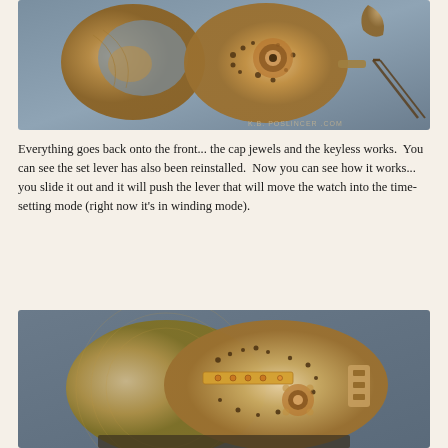[Figure (photo): Top-down photograph of a disassembled watch movement showing the main plate with jewels and keyless works components, tweezers visible on the right, parts laid out on a blue surface. Watermark text partially visible at bottom right.]
Everything goes back onto the front... the cap jewels and the keyless works.  You can see the set lever has also been reinstalled.  Now you can see how it works... you slide it out and it will push the lever that will move the watch into the time-setting mode (right now it's in winding mode).
[Figure (photo): Close-up photograph of a watch movement from the front, showing the main plate with a set lever bar highlighted, gear train visible, jewels, and various mechanical components on a dark surface.]